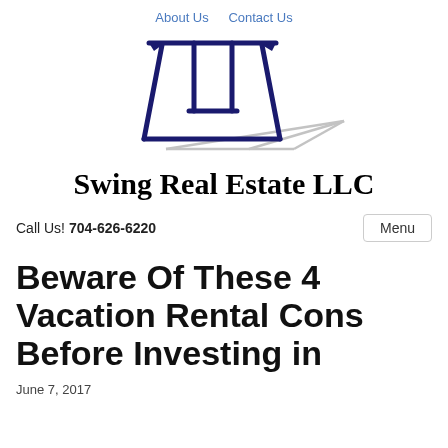About Us   Contact Us
[Figure (logo): Swing Real Estate LLC logo: a dark navy blue swing set shape (A-frame with horizontal bar and seat), with a grey shadow extending to the right]
Swing Real Estate LLC
Call Us! 704-626-6220
Menu
Beware Of These 4 Vacation Rental Cons Before Investing in
June 7, 2017